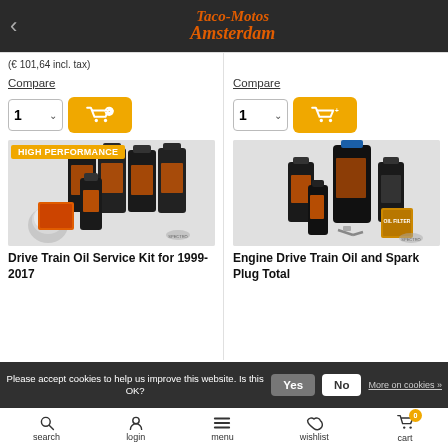Taco-Motos Amsterdam
(€ 101,64 incl. tax)
Compare
Compare
[Figure (photo): High Performance motorcycle oil service kit with multiple oil bottles and chrome oil filter]
Drive Train Oil Service Kit for 1999-2017
[Figure (photo): Engine Drive Train Oil and Spark Plug Total service kit with oil bottles, spark plug and oil filter]
Engine Drive Train Oil and Spark Plug Total
Please accept cookies to help us improve this website. Is this OK?
search  login  menu  wishlist  cart